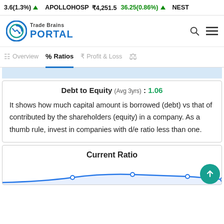3.6(1.3%) ▲  APOLLOHOSP ₹4,251.5  36.25(0.86%) ▲  NEST
[Figure (logo): Trade Brains Portal logo with circular chart icon in teal/blue]
% Ratios (active tab), Overview, Profit & Loss
Debt to Equity (Avg 3yrs) : 1.06
It shows how much capital amount is borrowed (debt) vs that of contributed by the shareholders (equity) in a company. As a thumb rule, invest in companies with d/e ratio less than one.
Current Ratio
[Figure (line-chart): Partial line chart for Current Ratio, showing blue line visible at bottom of card]